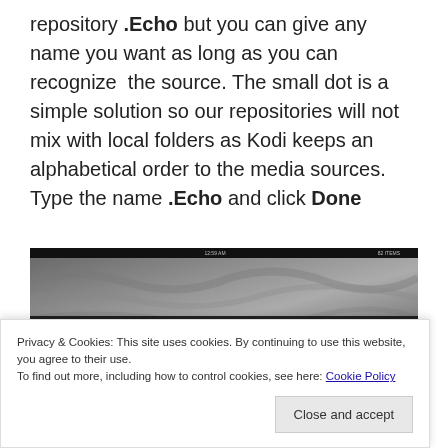repository .Echo but you can give any name you want as long as you can recognize the source. The small dot is a simple solution so our repositories will not mix with local folders as Kodi keeps an alphabetical order to the media sources. Type the name .Echo and click Done
[Figure (screenshot): Screenshot of Kodi media source dialog showing 'ENTER A NAME FOR THIS MEDIA SOURCE' with an on-screen QWERTY keyboard and list of stream/repo sources on the left side.]
Privacy & Cookies: This site uses cookies. By continuing to use this website, you agree to their use.
To find out more, including how to control cookies, see here: Cookie Policy